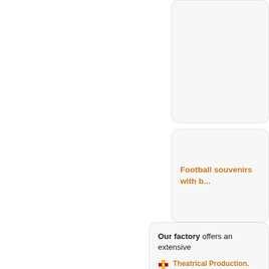[Figure (other): Rounded card box, light gray background, top right area, content cropped]
Football souvenirs with b...
Our factory offers an extensive
Theatrical Production.
Stage shoes: Shoes, boo...
Towels and tablecloths...
Clothes stage: Curtains,...
Room theater premises...
Heraldry: Flags (corpor...
Mantle: Professorship, u...
Knitwear: Children's, th...